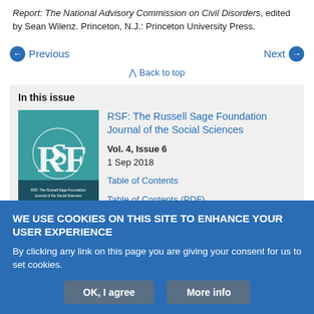Report: The National Advisory Commission on Civil Disorders, edited by Sean Wilenz. Princeton, N.J.: Princeton University Press.
Previous
Next
Back to top
In this issue
[Figure (illustration): RSF: The Russell Sage Foundation Journal of the Social Sciences journal cover with teal background and RSF logo]
RSF: The Russell Sage Foundation Journal of the Social Sciences
Vol. 4, Issue 6
1 Sep 2018
Table of Contents
Table of Contents (PDF)
Cover (PDF)
WE USE COOKIES ON THIS SITE TO ENHANCE YOUR USER EXPERIENCE
By clicking any link on this page you are giving your consent for us to set cookies.
OK, I agree
More info